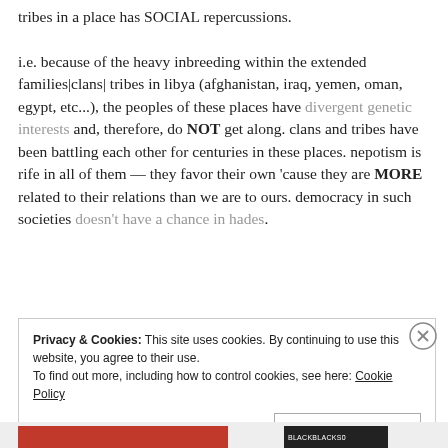tribes in a place has SOCIAL repercussions. i.e. because of the heavy inbreeding within the extended families|clans| tribes in libya (afghanistan, iraq, yemen, oman, egypt, etc...), the peoples of these places have divergent genetic interests and, therefore, do NOT get along. clans and tribes have been battling each other for centuries in these places. nepotism is rife in all of them — they favor their own 'cause they are MORE related to their relations than we are to ours. democracy in such societies doesn't have a chance in hades.
Privacy & Cookies: This site uses cookies. By continuing to use this website, you agree to their use. To find out more, including how to control cookies, see here: Cookie Policy
Close and accept